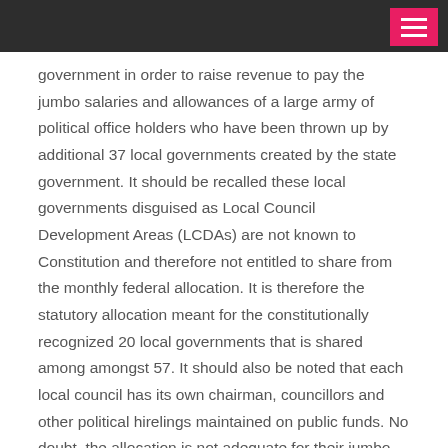government in order to raise revenue to pay the jumbo salaries and allowances of a large army of political office holders who have been thrown up by additional 37 local governments created by the state government. It should be recalled these local governments disguised as Local Council Development Areas (LCDAs) are not known to Constitution and therefore not entitled to share from the monthly federal allocation. It is therefore the statutory allocation meant for the constitutionally recognized 20 local governments that is shared among amongst 57. It should also be noted that each local council has its own chairman, councillors and other political hirelings maintained on public funds. No doubt, the allocation is not adequate for their jumbo pays, hence the need to